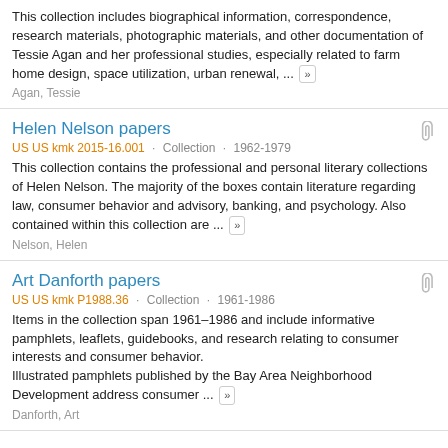This collection includes biographical information, correspondence, research materials, photographic materials, and other documentation of Tessie Agan and her professional studies, especially related to farm home design, space utilization, urban renewal, ... »
Agan, Tessie
Helen Nelson papers
US US kmk 2015-16.001 · Collection · 1962-1979
This collection contains the professional and personal literary collections of Helen Nelson. The majority of the boxes contain literature regarding law, consumer behavior and advisory, banking, and psychology. Also contained within this collection are ... »
Nelson, Helen
Art Danforth papers
US US kmk P1988.36 · Collection · 1961-1986
Items in the collection span 1961–1986 and include informative pamphlets, leaflets, guidebooks, and research relating to consumer interests and consumer behavior. Illustrated pamphlets published by the Bay Area Neighborhood Development address consumer ... »
Danforth, Art